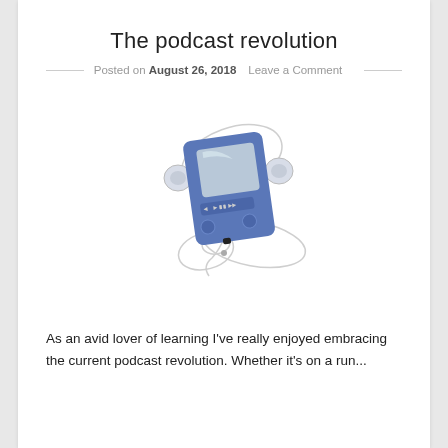The podcast revolution
Posted on August 26, 2018   Leave a Comment
[Figure (illustration): Illustration of a blue portable media player/MP3 device with earphone cables curling around it and small white earbuds on the sides.]
As an avid lover of learning I've really enjoyed embracing the current podcast revolution. Whether it's on a run...